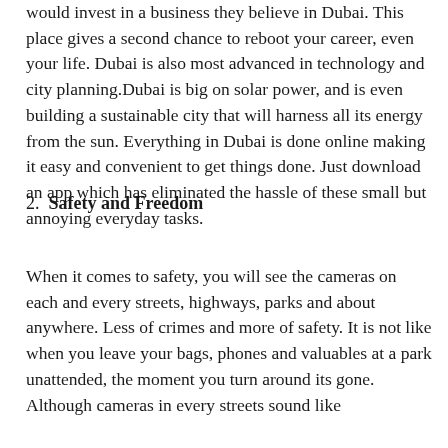would invest in a business they believe in Dubai. This place gives a second chance to reboot your career, even your life. Dubai is also most advanced in technology and city planning.Dubai is big on solar power, and is even building a sustainable city that will harness all its energy from the sun. Everything in Dubai is done online making it easy and convenient to get things done. Just download an app which has eliminated the hassle of these small but annoying everyday tasks.
2. Safety and Freedom
When it comes to safety, you will see the cameras on each and every streets, highways, parks and about anywhere. Less of crimes and more of safety. It is not like when you leave your bags, phones and valuables at a park unattended, the moment you turn around its gone. Although cameras in every streets sound like